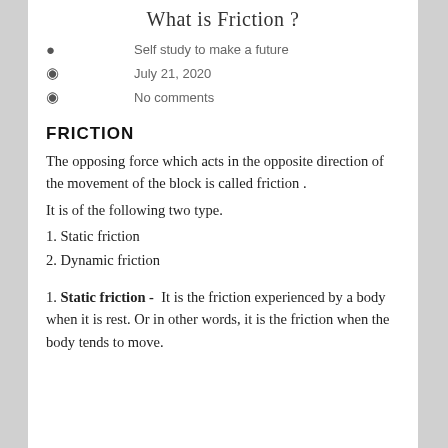What is Friction?
Self study to make a future
July 21, 2020
No comments
FRICTION
The opposing force which acts in the opposite direction of the movement of the block is called friction .
It is of the following two type.
1. Static friction
2. Dynamic friction
1. Static friction -  It is the friction experienced by a body when it is rest. Or in other words, it is the friction when the body tends to move.